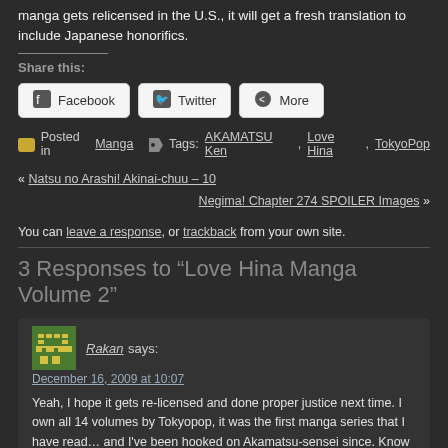manga gets relicensed in the U.S., it will get a fresh translation to include Japanese honorifics.
Share this:
[Figure (other): Share buttons: Facebook, Twitter, More]
Posted in Manga   Tags: AKAMATSU Ken, Love Hina, TokyoPop
« Natsu no Arashi! Akinai-chuu – 10
Negima! Chapter 274 SPOILER Images »
You can leave a response, or trackback from your own site.
3 Responses to “Love Hina Manga Volume 2”
Rakan says:
December 16, 2009 at 10:07
Yeah, I hope it gets re-licensed and done proper justice next time. I own all 14 volumes by Tokyopop, it was the first manga series that I have read… and I've been hooked on Akamatsu-sensei since. Know what I crave? A Negima! figure that's actually cool and worth buying. Sigh.